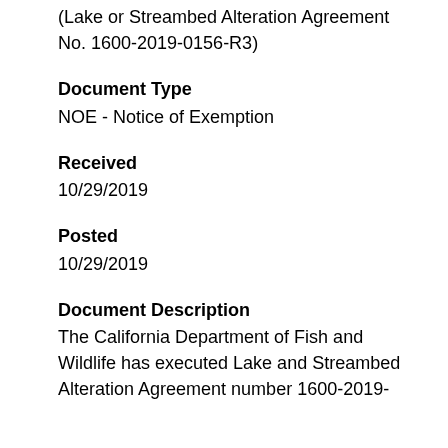(Lake or Streambed Alteration Agreement No. 1600-2019-0156-R3)
Document Type
NOE - Notice of Exemption
Received
10/29/2019
Posted
10/29/2019
Document Description
The California Department of Fish and Wildlife has executed Lake and Streambed Alteration Agreement number 1600-2019-